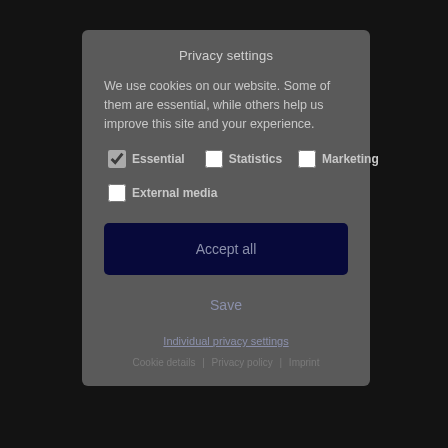Privacy settings
We use cookies on our website. Some of them are essential, while others help us improve this site and your experience.
✓ Essential   ☐ Statistics   ☐ Marketing
☐ External media
Accept all
Save
Individual privacy settings
Cookie details | Privacy policy | Imprint